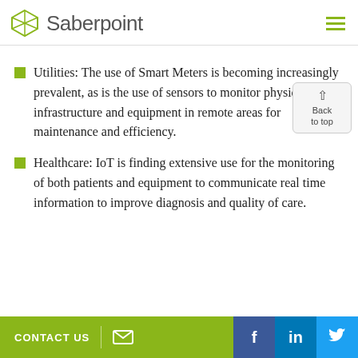Saberpoint
Utilities: The use of Smart Meters is becoming increasingly prevalent, as is the use of sensors to monitor physical infrastructure and equipment in remote areas for maintenance and efficiency.
Healthcare: IoT is finding extensive use for the monitoring of both patients and equipment to communicate real time information to improve diagnosis and quality of care.
CONTACT US | [email icon] | [facebook] [linkedin] [twitter]